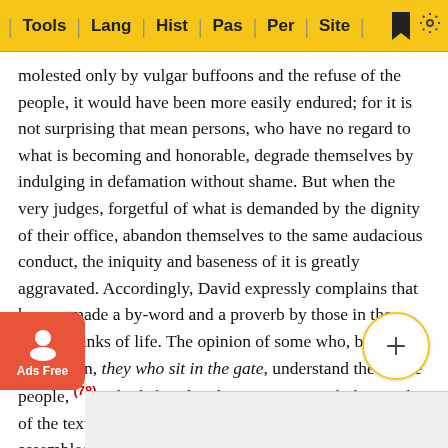Tools | Lang | Hist | Pas | Per | Site
molested only by vulgar buffoons and the refuse of the people, it would have been more easily endured; for it is not surprising that mean persons, who have no regard to what is becoming and honorable, degrade themselves by indulging in defamation without shame. But when the very judges, forgetful of what is demanded by the dignity of their office, abandon themselves to the same audacious conduct, the iniquity and baseness of it is greatly aggravated. Accordingly, David expressly complains that he was made a by-word and a proverb by those in the highest ranks of life. The opinion of some who, by the expression, they who sit in the gate, understand the whole people, (78) is both frigid and inconsistent with the words of the text; for although men of every rank and condition assembled at the gates, yet more especially the judges and counsellors sat there. (79) This is confirmed by the second clause of the verse; for by those who drink ... were ...